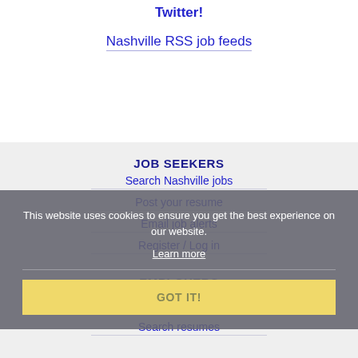Twitter!
Nashville RSS job feeds
JOB SEEKERS
Search Nashville jobs
Post your resume
Email job alerts
Register / Log in
This website uses cookies to ensure you get the best experience on our website.
Learn more
GOT IT!
EMPLOYERS
Post jobs
Search resumes